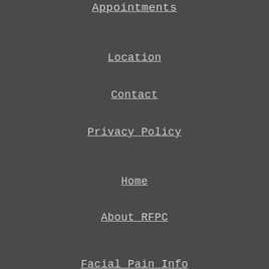Appointments
Location
Contact
Privacy Policy
Home
About RFPC
Facial Pain Info
Patient Form
Referrals